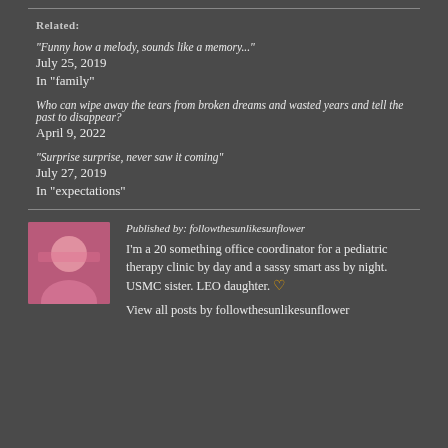Related:
"Funny how a melody, sounds like a memory..."
July 25, 2019
In "family"
Who can wipe away the tears from broken dreams and wasted years and tell the past to disappear?
April 9, 2022
"Surprise surprise, never saw it coming"
July 27, 2019
In "expectations"
Published by: followthesunlikesunflower
I'm a 20 something office coordinator for a pediatric therapy clinic by day and a sassy smart ass by night. USMC sister. LEO daughter. 🧡 View all posts by followthesunlikesunflower